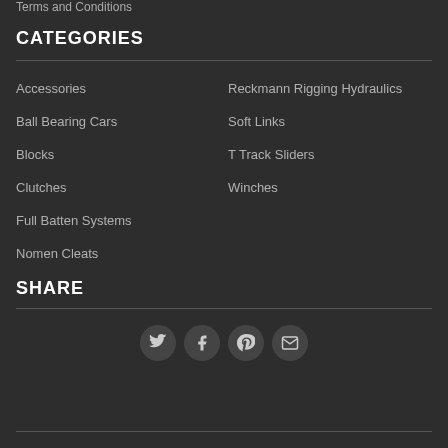Terms and Conditions
CATEGORIES
Accessories
Ball Bearing Cars
Blocks
Clutches
Full Batten Systems
Nomen Cleats
Reckmann Rigging Hydraulics
Soft Links
T Track Sliders
Winches
SHARE
[Figure (infographic): Social share icons: Twitter, Facebook, Pinterest, Email]